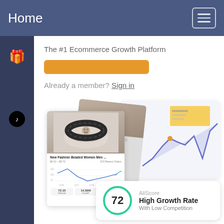Home
The #1 Ecommerce Growth Platform
Already a member? Sign in
[Figure (screenshot): Screenshot of ecommerce platform showing a beaded bracelet product card with analytics chart, AliScore badge showing 72 - High Growth Rate With Low Competition]
[Figure (infographic): AliScore badge: 72, High Growth Rate, With Low Competition]